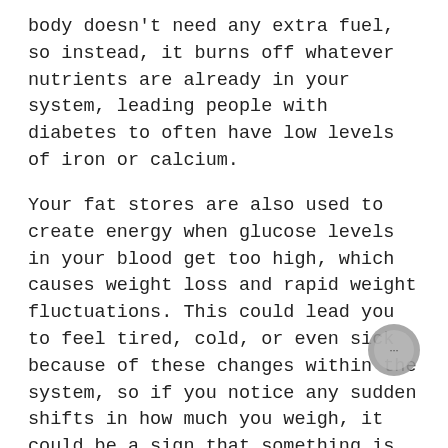body doesn't need any extra fuel, so instead, it burns off whatever nutrients are already in your system, leading people with diabetes to often have low levels of iron or calcium.
Your fat stores are also used to create energy when glucose levels in your blood get too high, which causes weight loss and rapid weight fluctuations. This could lead you to feel tired, cold, or even sick because of these changes within the system, so if you notice any sudden shifts in how much you weigh, it could be a sign that something is wrong with your blood sugar levels.
4. You're Starting To Have Vision